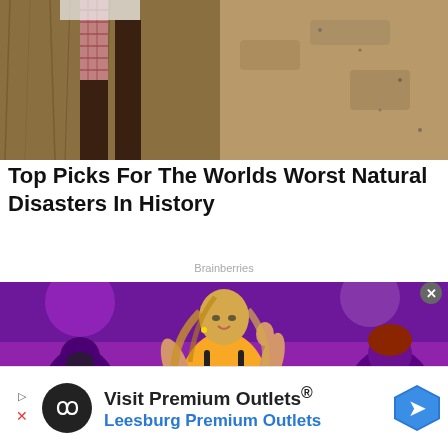[Figure (photo): Photo of people struggling in sandy/muddy terrain, visible legs and plaid shorts]
Top Picks For The Worlds Worst Natural Disasters In History
Brainberries
[Figure (photo): Photo of a female performer dancing on stage with purple lighting and backup dancers wearing masks]
Visit Premium Outlets® Leesburg Premium Outlets